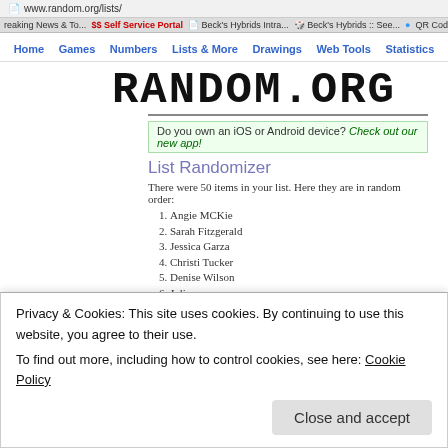www.random.org/lists/
reaking News & To... Self Service Portal Beck's Hybrids Intra... Beck's Hybrids :: See... QR Code Generator
Home  Games  Numbers  Lists & More  Drawings  Web Tools  Statistics
RANDOM.ORG
Do you own an iOS or Android device? Check out our new app!
List Randomizer
There were 50 items in your list. Here they are in random order:
1. Angie MCKie
2. Sarah Fitzgerald
3. Jessica Garza
4. Christi Tucker
5. Denise Wilson
6. Julie
7. Diep Birch
8. Denise Wilson
9. Christi Tucker
10. Kristen Downey
Privacy & Cookies: This site uses cookies. By continuing to use this website, you agree to their use. To find out more, including how to control cookies, see here: Cookie Policy
Close and accept